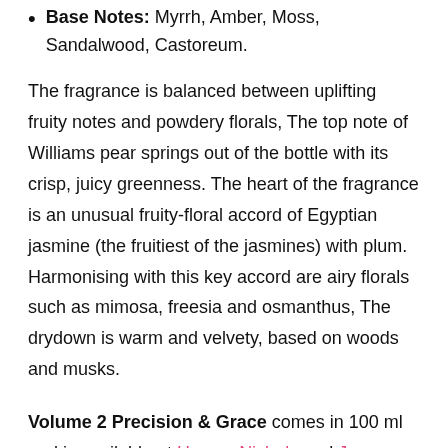Base Notes: Myrrh, Amber, Moss, Sandalwood, Castoreum.
The fragrance is balanced between uplifting fruity notes and powdery florals, The top note of Williams pear springs out of the bottle with its crisp, juicy greenness. The heart of the fragrance is an unusual fruity-floral accord of Egyptian jasmine (the fruitiest of the jasmines) with plum. Harmonising with this key accord are airy florals such as mimosa, freesia and osmanthus, The drydown is warm and velvety, based on woods and musks.
Volume 2 Precision & Grace comes in 100 ml and is available at Harvey Nichols and Jovoy Mayfair